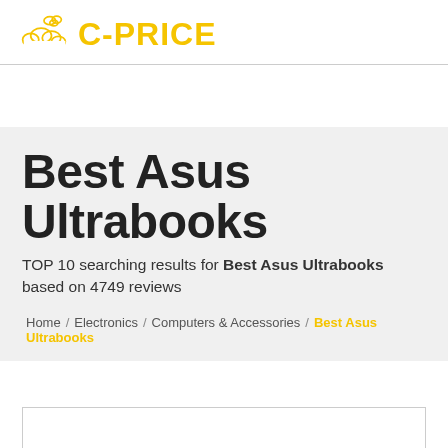C-PRICE
Best Asus Ultrabooks
TOP 10 searching results for Best Asus Ultrabooks based on 4749 reviews
Home / Electronics / Computers & Accessories / Best Asus Ultrabooks